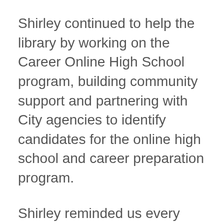Shirley continued to help the library by working on the Career Online High School program, building community support and partnering with City agencies to identify candidates for the online high school and career preparation program.
Shirley reminded us every day of the great impact we make on people’s lives. Anyone who worked for her will remember her signature slogan, “Together, we make an extraordinary difference.” That feels like an understatement when you look back at